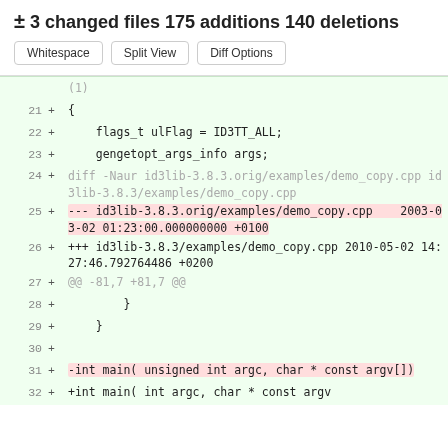± 3 changed files 175 additions 140 deletions
[Figure (screenshot): Diff viewer with Whitespace, Split View, and Diff Options buttons, and a code diff showing lines 21-32 with additions marked by + signs, some lines highlighted in red/pink for removed content.]